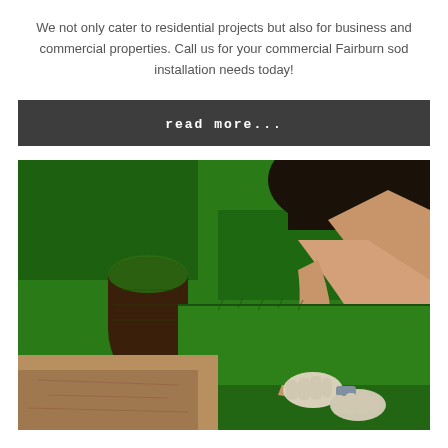We not only cater to residential projects but also for business and commercial properties. Call us for your commercial Fairburn sod installation needs today!
read more...
[Figure (photo): A person wearing gloves laying sod rolls on the ground. A rolled-up sod cylinder is visible on the left, and green grass sod is being laid on sandy/dirt ground on the right.]